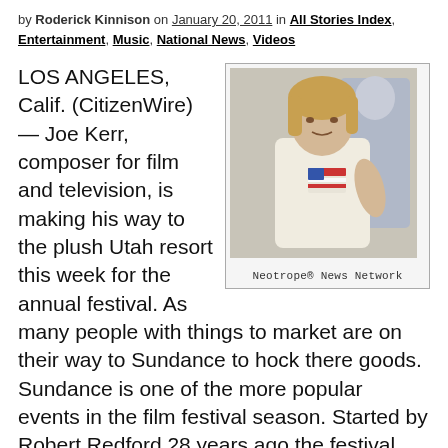by Roderick Kinnison on January 20, 2011 in All Stories Index, Entertainment, Music, National News, Videos
[Figure (photo): A man with blond hair wearing a white t-shirt with an American flag graphic, posed casually. Caption reads: Neotrope® News Network]
Neotrope® News Network
LOS ANGELES, Calif. (CitizenWire) — Joe Kerr, composer for film and television, is making his way to the plush Utah resort this week for the annual festival. As many people with things to market are on their way to Sundance to hock there goods. Sundance is one of the more popular events in the film festival season. Started by Robert Redford 28 years ago the festival has become a Mecca for luxury goods and famous celebrities. Besides being a premier place to showcase one's film and hopefully find a distributor